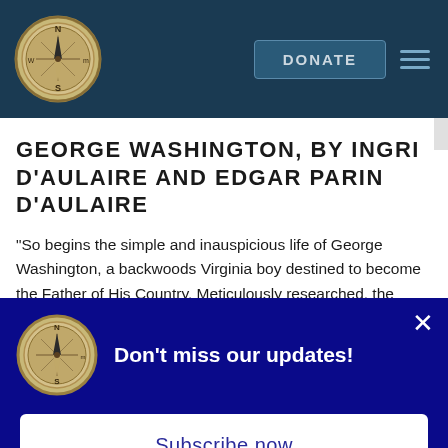[Figure (logo): Compass rose logo in circular golden frame on dark navy header bar]
GEORGE WASHINGTON, BY INGRI D'AULAIRE AND EDGAR PARIN D'AULAIRE
“So begins the simple and inauspicious life of George Washington, a backwoods Virginia boy destined to become the Father of His Country. Meticulously researched, the d'Aulaires hiked and camped all over Virginia as they imbibed the spirit of this great man. The story follows his
[Figure (screenshot): Pop-up newsletter subscription modal with dark navy/blue background. Contains compass rose logo, headline 'Don't miss our updates!', close X button, and 'Subscribe now' button.]